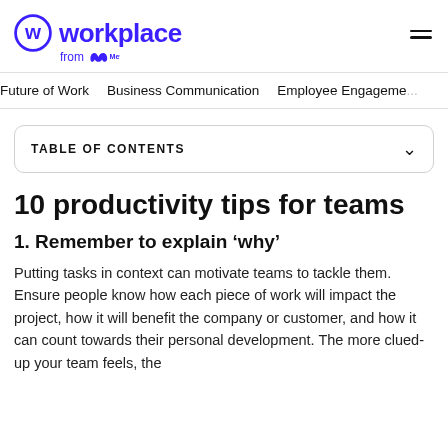Workplace from Meta
Future of Work | Business Communication | Employee Engagement
TABLE OF CONTENTS
10 productivity tips for teams
1. Remember to explain ‘why’
Putting tasks in context can motivate teams to tackle them. Ensure people know how each piece of work will impact the project, how it will benefit the company or customer, and how it can count towards their personal development. The more clued-up your team feels, the